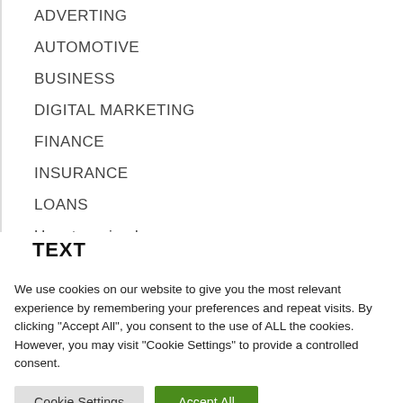ADVERTING
AUTOMOTIVE
BUSINESS
DIGITAL MARKETING
FINANCE
INSURANCE
LOANS
Uncategorized
TEXT
We use cookies on our website to give you the most relevant experience by remembering your preferences and repeat visits. By clicking "Accept All", you consent to the use of ALL the cookies. However, you may visit "Cookie Settings" to provide a controlled consent.